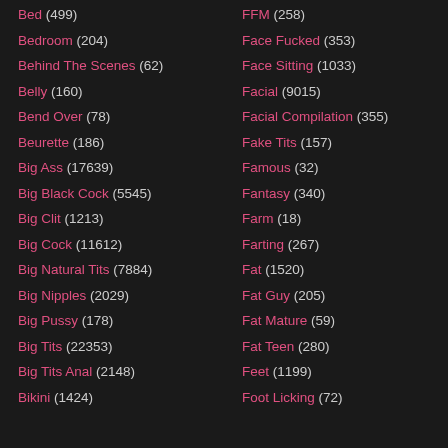Bed (499)
Bedroom (204)
Behind The Scenes (62)
Belly (160)
Bend Over (78)
Beurette (186)
Big Ass (17639)
Big Black Cock (5545)
Big Clit (1213)
Big Cock (11612)
Big Natural Tits (7884)
Big Nipples (2029)
Big Pussy (178)
Big Tits (22353)
Big Tits Anal (2148)
Bikini (1424)
FFM (258)
Face Fucked (353)
Face Sitting (1033)
Facial (9015)
Facial Compilation (355)
Fake Tits (157)
Famous (32)
Fantasy (340)
Farm (18)
Farting (267)
Fat (1520)
Fat Guy (205)
Fat Mature (59)
Fat Teen (280)
Feet (1199)
Foot Licking (72)